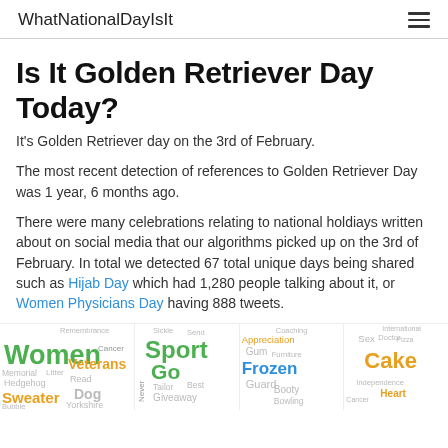WhatNationalDayIsIt
Is It Golden Retriever Day Today?
It's Golden Retriever day on the 3rd of February.
The most recent detection of references to Golden Retriever Day was 1 year, 6 months ago.
There were many celebrations relating to national holdiays written about on social media that our algorithms picked up on the 3rd of February. In total we detected 67 total unique days being shared such as Hijab Day which had 1,280 people talking about it, or Women Physicians Day having 888 tweets.
[Figure (infographic): Word cloud collage showing four word clouds with holiday-related terms including Women, Sweater, Veterans, Dog, Yorkshire, Sport, Go, Giveaway, Frozen, Guard, Appreciation, Gum, Cake, Heart, Independence in various colors and sizes]